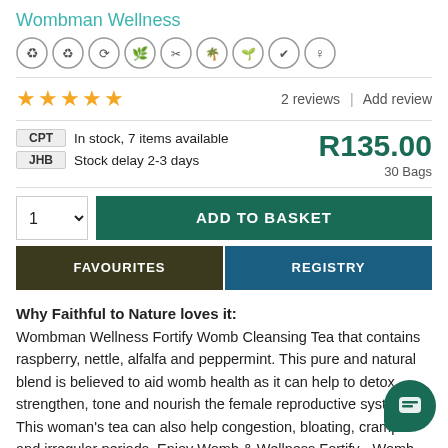Wombman Wellness
[Figure (illustration): Row of 9 circular icons representing eco/natural product certifications (recycling, leaf, plant, seed, tree, seedling, badge, female symbol variants)]
★★★★★  2 reviews  |  Add review
CPT  In stock, 7 items available
JHB  Stock delay 2-3 days
R135.00
30 Bags
1 ∨  ADD TO BASKET
FAVOURITES  REGISTRY
Why Faithful to Nature loves it:
Wombman Wellness Fortify Womb Cleansing Tea that contains raspberry, nettle, alfalfa and peppermint. This pure and natural blend is believed to aid womb health as it can help to detox, strengthen, tone and nourish the female reproductive system. This woman's tea can also help congestion, bloating, cramps and irregular periods. Enjoy Womb & Wellness Fortify - Womb Cleansing Tea hot or cold